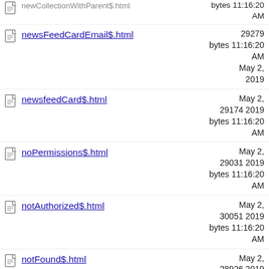newsFeedCardEmail$.html — 29279 bytes — May 2, 2019 11:16:20 AM
newsfeedCard$.html — 29174 bytes — May 2, 2019 11:16:20 AM
noPermissions$.html — 29031 bytes — May 2, 2019 11:16:20 AM
notAuthorized$.html — 30051 bytes — May 2, 2019 11:16:20 AM
notFound$.html — 28926 bytes — May 2, 2019 11:16:20 AM
138030 bytes — May 2, 2019